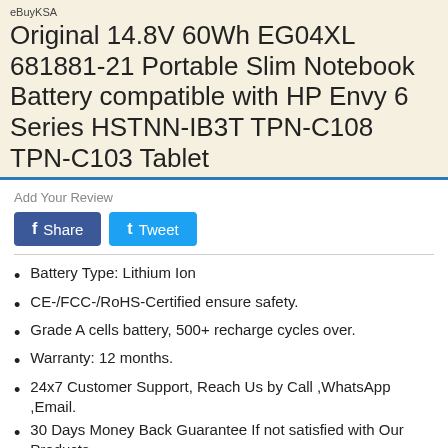eBuyKSA
Original 14.8V 60Wh EG04XL 681881-21 Portable Slim Notebook Battery compatible with HP Envy 6 Series HSTNN-IB3T TPN-C108 TPN-C103 Tablet
Add Your Review
Share  Tweet
Battery Type: Lithium Ion
CE-/FCC-/RoHS-Certified ensure safety.
Grade A cells battery, 500+ recharge cycles over.
Warranty: 12 months.
24x7 Customer Support, Reach Us by Call ,WhatsApp ,Email.
30 Days Money Back Guarantee If not satisfied with Our Products.